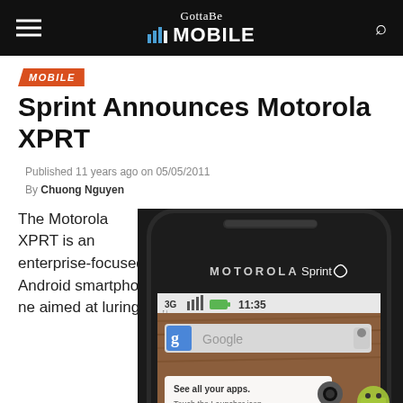GottaBe Mobile
MOBILE
Sprint Announces Motorola XPRT
Published 11 years ago on 05/05/2011
By Chuong Nguyen
The Motorola XPRT is an enterprise-focused Android smartphone aimed at luring
[Figure (photo): Motorola XPRT Android smartphone for Sprint, showing the front of the device with Motorola and Sprint branding, 3G signal indicator, time 11:35, Google search bar, and Android mascot. Bottom reads '1 of 6'.]